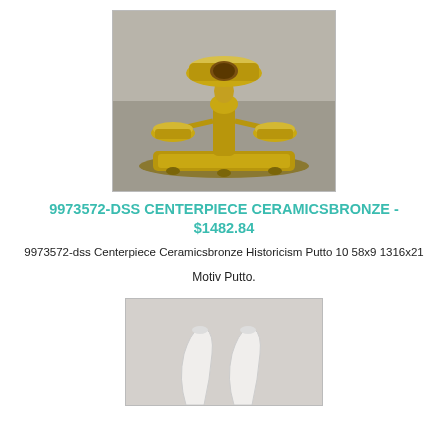[Figure (photo): Photo of a gold/bronze ceramic centerpiece with putto decoration and three bowls on an ornate base]
9973572-DSS CENTERPIECE CERAMICSBRONZE - $1482.84
9973572-dss Centerpiece Ceramicsbronze Historicism Putto 10 58x9 1316x21
Motiv Putto.
[Figure (photo): Partial photo of white ceramic or porcelain items on a light grey background, bottom of page]